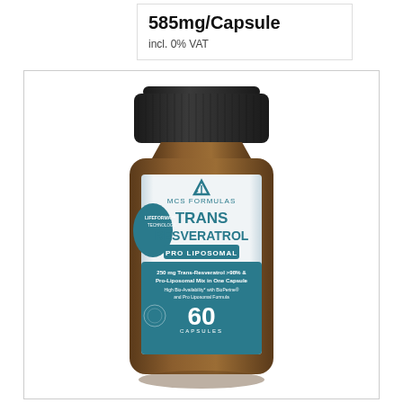585mg/Capsule
incl. 0% VAT
[Figure (photo): Brown supplement bottle with black lid labeled MCS Formulas Trans Resveratrol Pro Liposomal, 250mg Trans-Resveratrol >98% & Pro-Liposomal Mix in One Capsule, High Bio-Availability with BioPerine and Pro Liposomal Formula, 60 Capsules]